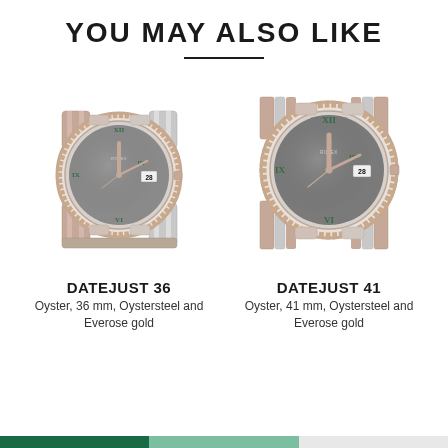YOU MAY ALSO LIKE
[Figure (photo): Rolex Datejust 36 watch with Oystersteel and Everose gold Oyster bracelet, slate dial with green Roman numerals]
DATEJUST 36
Oyster, 36 mm, Oystersteel and Everose gold
[Figure (photo): Rolex Datejust 41 watch with Oystersteel and Everose gold Jubilee bracelet, slate dial with green Roman numerals]
DATEJUST 41
Oyster, 41 mm, Oystersteel and Everose gold